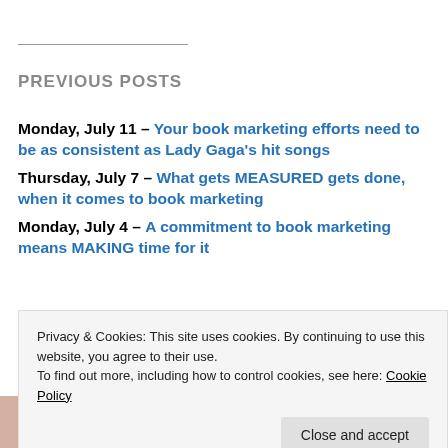PREVIOUS POSTS
Monday, July 11 – Your book marketing efforts need to be as consistent as Lady Gaga's hit songs
Thursday, July 7 – What gets MEASURED gets done, when it comes to book marketing
Monday, July 4 – A commitment to book marketing means MAKING time for it
Privacy & Cookies: This site uses cookies. By continuing to use this website, you agree to their use. To find out more, including how to control cookies, see here: Cookie Policy
[Figure (photo): Photo strip at bottom of page showing people]